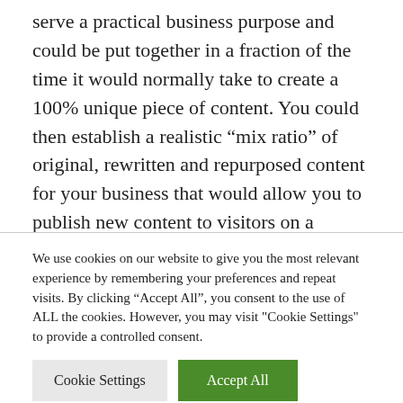serve a practical business purpose and could be put together in a fraction of the time it would normally take to create a 100% unique piece of content. You could then establish a realistic “mix ratio” of original, rewritten and repurposed content for your business that would allow you to publish new content to visitors on a regular basis and maintain an active social presence.
We use cookies on our website to give you the most relevant experience by remembering your preferences and repeat visits. By clicking “Accept All”, you consent to the use of ALL the cookies. However, you may visit "Cookie Settings" to provide a controlled consent.